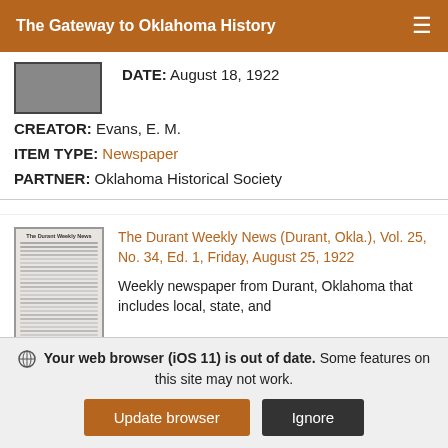The Gateway to Oklahoma History
DATE: August 18, 1922
CREATOR: Evans, E. M.
ITEM TYPE: Newspaper
PARTNER: Oklahoma Historical Society
[Figure (photo): Thumbnail of a newspaper front page]
The Durant Weekly News (Durant, Okla.), Vol. 25, No. 34, Ed. 1, Friday, August 25, 1922
Weekly newspaper from Durant, Oklahoma that includes local, state, and
Your web browser (iOS 11) is out of date. Some features on this site may not work.
Update browser   Ignore